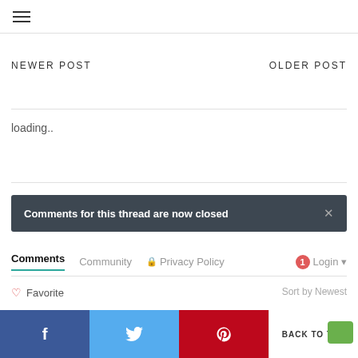☰ (hamburger menu)
NEWER POST
OLDER POST
loading..
Comments for this thread are now closed
Comments  Community  🔒 Privacy Policy  1  Login ▾
♡ Favorite
Sort by Newest
f  🐦  Pinterest  ✉  BACK TO TOP